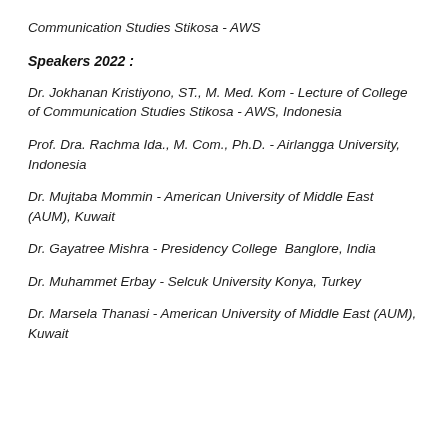Communication Studies Stikosa - AWS
Speakers 2022 :
Dr. Jokhanan Kristiyono, ST., M. Med. Kom - Lecture of College of Communication Studies Stikosa - AWS, Indonesia
Prof. Dra. Rachma Ida., M. Com., Ph.D. - Airlangga University, Indonesia
Dr. Mujtaba Mommin - American University of Middle East (AUM), Kuwait
Dr. Gayatree Mishra - Presidency College  Banglore, India
Dr. Muhammet Erbay - Selcuk University Konya, Turkey
Dr. Marsela Thanasi - American University of Middle East (AUM), Kuwait